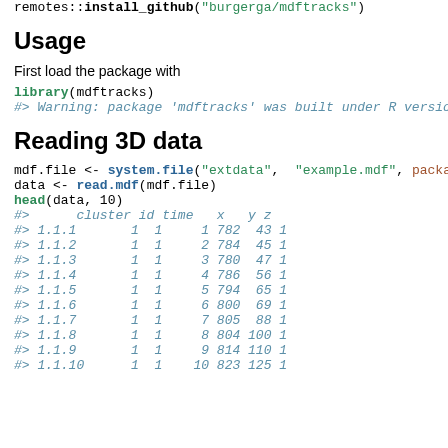remotes::install_github("burgerga/mdftracks")
Usage
First load the package with
library(mdftracks)
#> Warning: package 'mdftracks' was built under R versio
Reading 3D data
mdf.file <- system.file("extdata", "example.mdf", packa
data <- read.mdf(mdf.file)
head(data, 10)
#>      cluster id time   x   y z
#> 1.1.1      1  1     1 782  43 1
#> 1.1.2      1  1     2 784  45 1
#> 1.1.3      1  1     3 780  47 1
#> 1.1.4      1  1     4 786  56 1
#> 1.1.5      1  1     5 794  65 1
#> 1.1.6      1  1     6 800  69 1
#> 1.1.7      1  1     7 805  88 1
#> 1.1.8      1  1     8 804 100 1
#> 1.1.9      1  1     9 814 110 1
#> 1.1.10     1  1    10 823 125 1